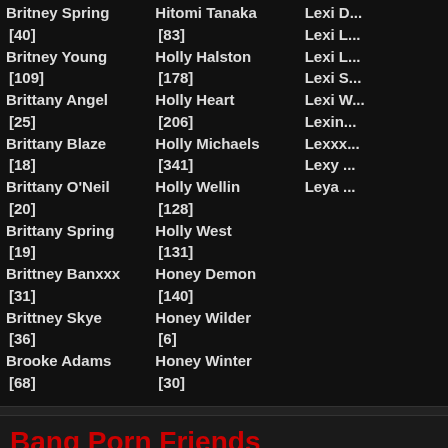Britney Spring [40]
Britney Young [109]
Brittany Angel [25]
Brittany Blaze [18]
Brittany O'Neil [20]
Brittany Spring [19]
Brittney Banxxx [31]
Brittney Skye [36]
Brooke Adams [68]
Hitomi Tanaka [83]
Holly Halston [178]
Holly Heart [206]
Holly Michaels [341]
Holly Wellin [128]
Holly West [131]
Honey Demon [140]
Honey Wilder [6]
Honey Winter [30]
Bang Porn Friends
[Figure (photo): Ardent Black Sex thumbnail]
Ardent Black Sex
[Figure (photo): Best Black Holes thumbnail]
Best Black Holes